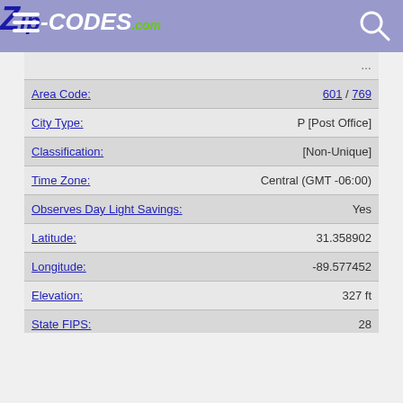Zip-Codes.com
| Field | Value |
| --- | --- |
| Area Code: | 601 / 769 |
| City Type: | P [Post Office] |
| Classification: | [Non-Unique] |
| Time Zone: | Central (GMT -06:00) |
| Observes Day Light Savings: | Yes |
| Latitude: | 31.358902 |
| Longitude: | -89.577452 |
| Elevation: | 327 ft |
| State FIPS: | 28 |
| County FIPS: | 073 |
| Region: | South |